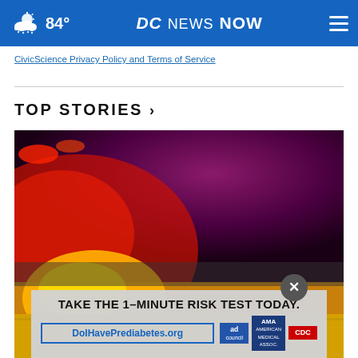84° DC NEWS NOW
CivicScience Privacy Policy and Terms of Service
TOP STORIES ›
[Figure (photo): Blurred photo of emergency vehicle with flashing red and yellow lights, police/ambulance scene at night]
TAKE THE 1-MINUTE RISK TEST TODAY. DoIHavePrediabetes.org